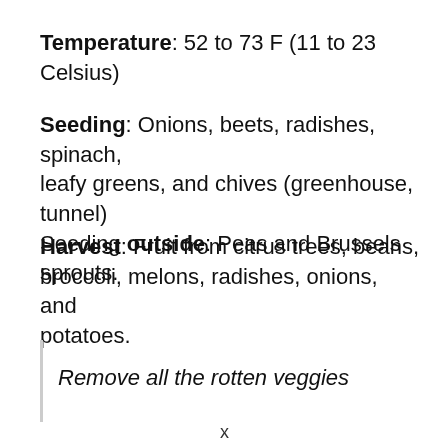Temperature: 52 to 73 F (11 to 23 Celsius)
Seeding: Onions, beets, radishes, spinach, leafy greens, and chives (greenhouse, tunnel) Seeding outside: Peas and Brussels sprouts.
Harvest: Fruit from citrus trees, beans, broccoli, melons, radishes, onions, and potatoes.
Remove all the rotten veggies